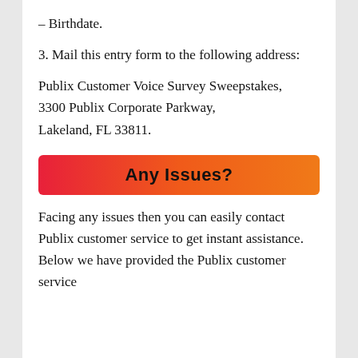– Birthdate.
3. Mail this entry form to the following address:
Publix Customer Voice Survey Sweepstakes,
3300 Publix Corporate Parkway,
Lakeland, FL 33811.
Any Issues?
Facing any issues then you can easily contact Publix customer service to get instant assistance. Below we have provided the Publix customer service